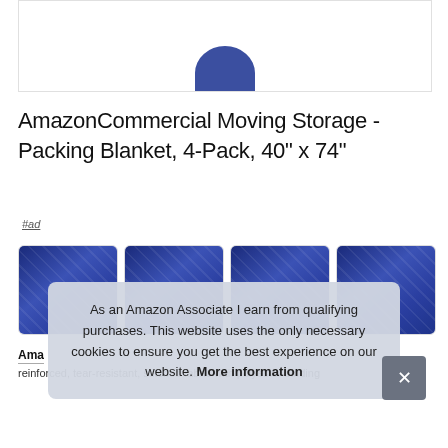[Figure (photo): Partial view of a blue moving blanket/product at top of page]
AmazonCommercial Moving Storage - Packing Blanket, 4-Pack, 40" x 74"
#ad
[Figure (photo): Four thumbnail images of blue quilted moving blankets in a row]
As an Amazon Associate I earn from qualifying purchases. This website uses the only necessary cookies to ensure you get the best experience on our website. More information
Amaz
reinforced, tear-resistant, stitched fabric with polyester binding